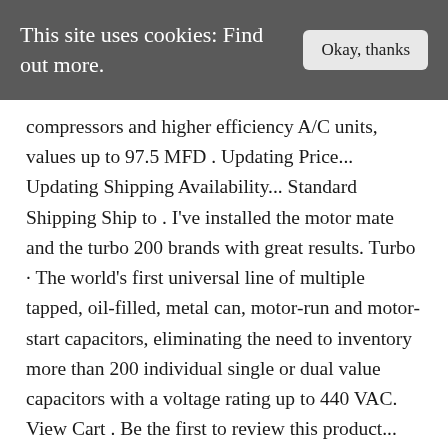This site uses cookies: Find out more.
compressors and higher efficiency A/C units, values up to 97.5 MFD . Updating Price... Updating Shipping Availability... Standard Shipping Ship to . I've installed the motor mate and the turbo 200 brands with great results. Turbo · The world's first universal line of multiple tapped, oil-filled, metal can, motor-run and motor-start capacitors, eliminating the need to inventory more than 200 individual single or dual value capacitors with a voltage rating up to 440 VAC. View Cart . Be the first to review this product... Share. Turbo 200 2.5 MFD to 67.5